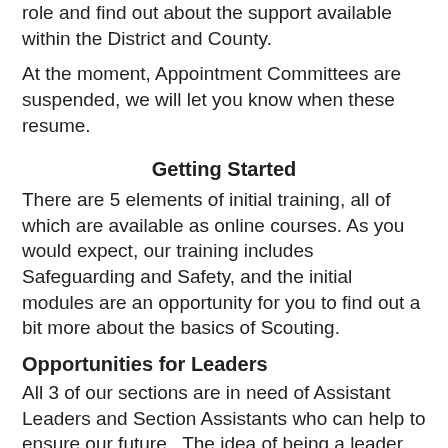role and find out about the support available within the District and County.
At the moment, Appointment Committees are suspended, we will let you know when these resume.
Getting Started
There are 5 elements of initial training, all of which are available as online courses. As you would expect, our training includes Safeguarding and Safety, and the initial modules are an opportunity for you to find out a bit more about the basics of Scouting.
Opportunities for Leaders
All 3 of our sections are in need of Assistant Leaders and Section Assistants who can help to ensure our future. The idea of being a leader can seem daunting, but many hands make light work. Training and support are provided for all roles, and the best way to start is to try out the Free Taster Challenge...